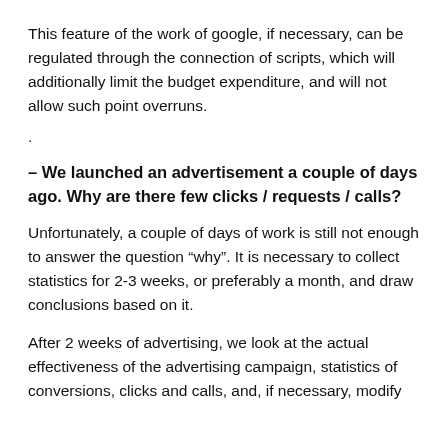This feature of the work of google, if necessary, can be regulated through the connection of scripts, which will additionally limit the budget expenditure, and will not allow such point overruns.
.
– We launched an advertisement a couple of days ago. Why are there few clicks / requests / calls?
Unfortunately, a couple of days of work is still not enough to answer the question “why”. It is necessary to collect statistics for 2-3 weeks, or preferably a month, and draw conclusions based on it.
After 2 weeks of advertising, we look at the actual effectiveness of the advertising campaign, statistics of conversions, clicks and calls, and, if necessary, modify